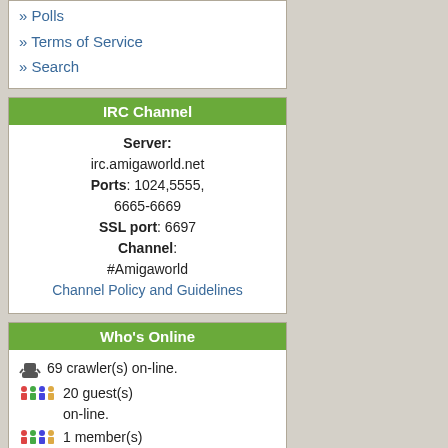» Polls
» Terms of Service
» Search
IRC Channel
Server: irc.amigaworld.net Ports: 1024,5555,6665-6669 SSL port: 6697 Channel: #Amigaworld Channel Policy and Guidelines
Who's Online
69 crawler(s) on-line. 20 guest(s) on-line. 1 member(s) on-line.
nbache
You are an anonymous user. Register Now!